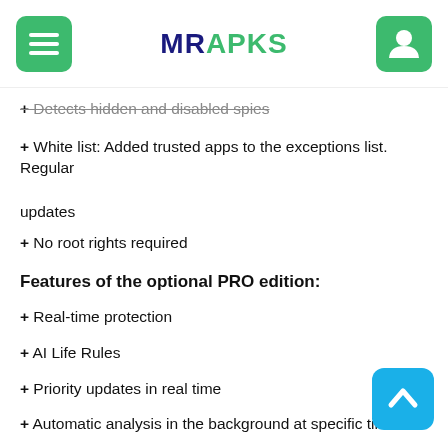MRAPKS
+ Detects hidden and disabled spies
+ White list: Added trusted apps to the exceptions list. Regular updates
+ No root rights required
Features of the optional PRO edition:
+ Real-time protection
+ AI Life Rules
+ Priority updates in real time
+ Automatic analysis in the background at specific times
+ Sophisticated anti-spyware heuristic engine to detect more unknown spy apps